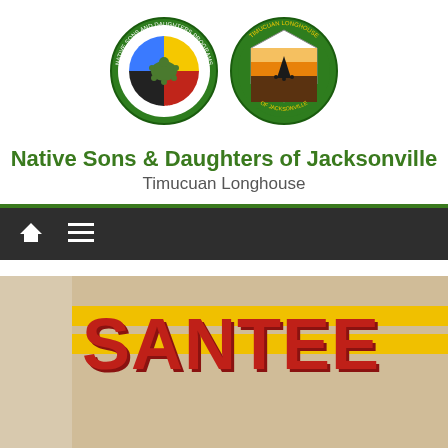[Figure (logo): Two circular logos side by side: left is Native Sons and Daughters Programs National Longhouse (green circle with turtle and four colors), right is Timucuan Longhouse of Jacksonville (green circle with sunset scene)]
Native Sons & Daughters of Jacksonville
Timucuan Longhouse
[Figure (screenshot): Navigation bar with home icon and hamburger menu icon on dark background]
[Figure (photo): Close-up photo of a white garment with yellow stripes and red letters spelling SANTEE, with partial text Est 2020 at the bottom right]